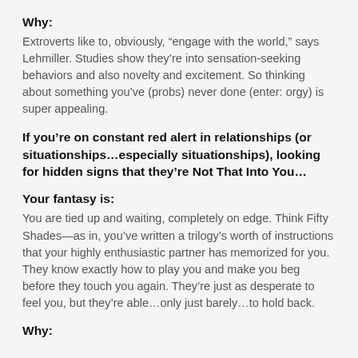Why:
Extroverts like to, obviously, “engage with the world,” says Lehmiller. Studies show they’re into sensation-seeking behaviors and also novelty and excitement. So thinking about something you’ve (probs) never done (enter: orgy) is super appealing.
If you’re on constant red alert in relationships (or situationships…especially situationships), looking for hidden signs that they’re Not That Into You…
Your fantasy is:
You are tied up and waiting, completely on edge. Think Fifty Shades—as in, you’ve written a trilogy’s worth of instructions that your highly enthusiastic partner has memorized for you. They know exactly how to play you and make you beg before they touch you again. They’re just as desperate to feel you, but they’re able…only just barely…to hold back.
Why: